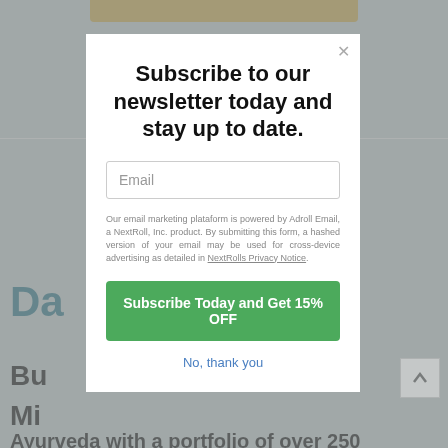[Figure (screenshot): Background webpage with gray overlay, partial teal heading text 'Da' visible, gold bar at top, partial body text 'Bu', 'Mi', and 'Ayurveda with a portfolio of over 250']
Subscribe to our newsletter today and stay up to date.
Email
Our email marketing plataform is powered by Adroll Email, a NextRoll, Inc. product. By submitting this form, a hashed version of your email may be used for cross-device advertising as detailed in NextRolls Privacy Notice.
Subscribe Today and Get 15% OFF
No, thank you